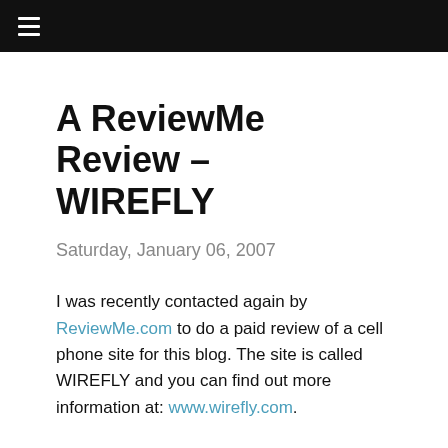≡
A ReviewMe Review - WIREFLY
Saturday, January 06, 2007
I was recently contacted again by ReviewMe.com to do a paid review of a cell phone site for this blog. The site is called WIREFLY and you can find out more information at: www.wirefly.com.
I was at first skeptical that I'd have much to say about a site that frankly I'd never consider using